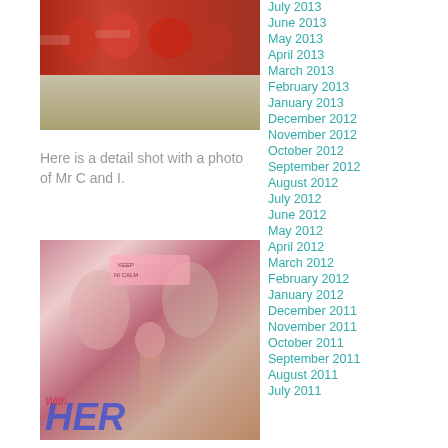[Figure (photo): Top photo showing protest crowd with red shirts and signs, bottom half shows a beige/tan surface]
Here is a detail shot with a photo of Mr C and I.
[Figure (photo): Colorful collage/mixed media artwork showing protest scene with women, pink signs reading KEEP CALM, and large HER text in blue at bottom left]
As you know, I share studio space with you...
July 2013
June 2013
May 2013
April 2013
March 2013
February 2013
January 2013
December 2012
November 2012
October 2012
September 2012
August 2012
July 2012
June 2012
May 2012
April 2012
March 2012
February 2012
January 2012
December 2011
November 2011
October 2011
September 2011
August 2011
July 2011